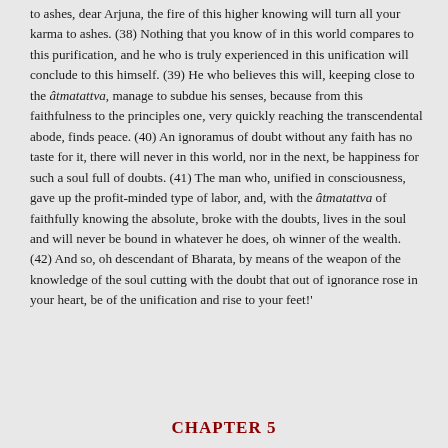to ashes, dear Arjuna, the fire of this higher knowing will turn all your karma to ashes. (38) Nothing that you know of in this world compares to this purification, and he who is truly experienced in this unification will conclude to this himself. (39) He who believes this will, keeping close to the âtmatattva, manage to subdue his senses, because from this faithfulness to the principles one, very quickly reaching the transcendental abode, finds peace. (40) An ignoramus of doubt without any faith has no taste for it, there will never in this world, nor in the next, be happiness for such a soul full of doubts. (41) The man who, unified in consciousness, gave up the profit-minded type of labor, and, with the âtmatattva of faithfully knowing the absolute, broke with the doubts, lives in the soul and will never be bound in whatever he does, oh winner of the wealth. (42) And so, oh descendant of Bharata, by means of the weapon of the knowledge of the soul cutting with the doubt that out of ignorance rose in your heart, be of the unification and rise to your feet!'
CHAPTER 5